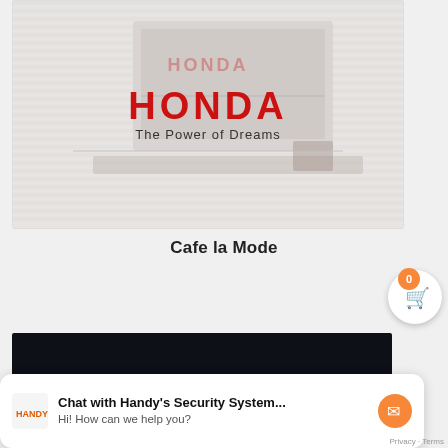[Figure (photo): Honda brand banner with 'HONDA' in red and 'The Power of Dreams' tagline on a light background showing a computer monitor]
Cafe la Mode
[Figure (screenshot): Dark background image card, partially visible]
[Figure (screenshot): Chat widget: Chat with Handy's Security System... Hi! How can we help you? with Messenger icon and Handy's Security logo]